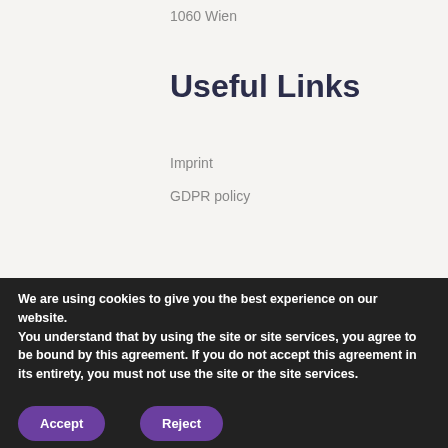1060 Wien
Useful Links
Imprint
GDPR policy
We are using cookies to give you the best experience on our website.
You understand that by using the site or site services, you agree to be bound by this agreement. If you do not accept this agreement in its entirety, you must not use the site or the site services.
Accept
Reject